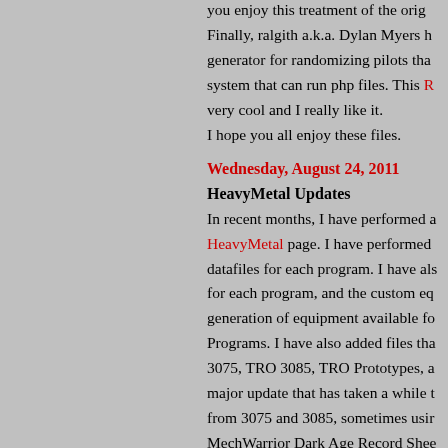you enjoy this treatment of the orig... Finally, ralgith a.k.a. Dylan Myers ha... generator for randomizing pilots tha... system that can run php files. This R... very cool and I really like it. I hope you all enjoy these files.
Wednesday, August 24, 2011
HeavyMetal Updates
In recent months, I have performed a... HeavyMetal page. I have performed... datafiles for each program. I have als... for each program, and the custom eq... generation of equipment available fo... Programs. I have also added files tha... 3075, TRO 3085, TRO Prototypes, a... major update that has taken a while t... from 3075 and 3085, sometimes usir... MechWarrior Dark Age Record Shee... Eyes did the files for Prototypes and... files will prove useful to you.
Wednesday, August 18, 2010
BattleForce Cards and TRO 3075
I have completed a recent update of t...